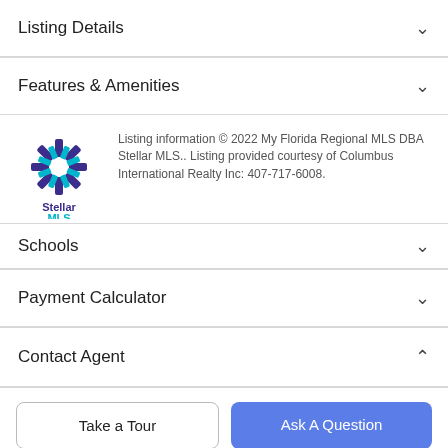Listing Details
Features & Amenities
Listing information © 2022 My Florida Regional MLS DBA Stellar MLS.. Listing provided courtesy of Columbus International Realty Inc: 407-717-6008.
Schools
Payment Calculator
Contact Agent
Take a Tour
Ask A Question